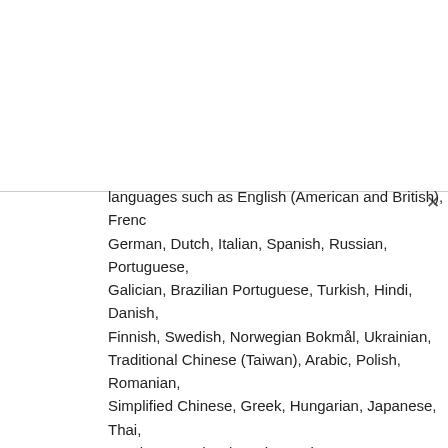languages such as English (American and British), French, German, Dutch, Italian, Spanish, Russian, Portuguese, Galician, Brazilian Portuguese, Turkish, Hindi, Danish, Finnish, Swedish, Norwegian Bokmål, Ukrainian, Traditional Chinese (Taiwan), Arabic, Polish, Romanian, Simplified Chinese, Greek, Hungarian, Japanese, Thai, Catalan, Czech, Slovenian and several other languages.
2. Easy to add any number of verses as well as lyrics.
3. Embedded Pictures – Pictures can be added with your musical files so that it gives a much more realistic appearance.
4. Head is a auto positioned in chords – The starting as well as the ending position of chords is easily determined.
5. Figure of staff lines obtainable – 1 through 9
6. Lyrics, unlimited number of verses
7. Drum notation